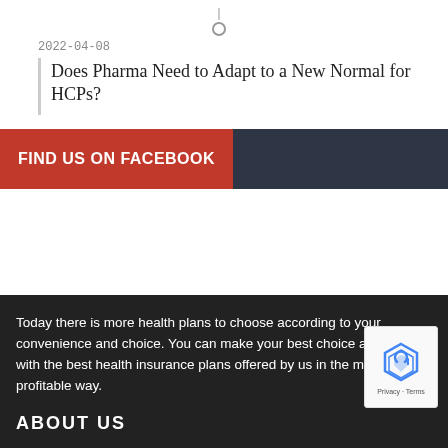2022-04-08
Does Pharma Need to Adapt to a New Normal for HCPs?
FIND US ON FACEBOOK
Today there is more health plans to choose according to your convenience and choice. You can make your best choice and satisfy with the best health insurance plans offered by us in the most profitable way.
ABOUT US